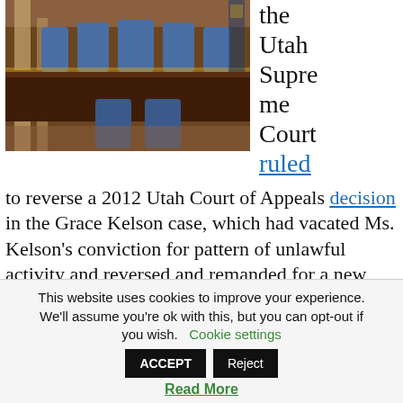[Figure (photo): Photo of a courtroom interior with dark wood furniture, blue chairs, and a raised bench area, likely the Utah Supreme Court chamber.]
the Utah Supreme Court ruled to reverse a 2012 Utah Court of Appeals decision in the Grace Kelson case, which had vacated Ms. Kelson's conviction for pattern of unlawful activity and reversed and remanded for a new trial on all other charges. The Utah
This website uses cookies to improve your experience. We'll assume you're ok with this, but you can opt-out if you wish. Cookie settings ACCEPT Reject Read More